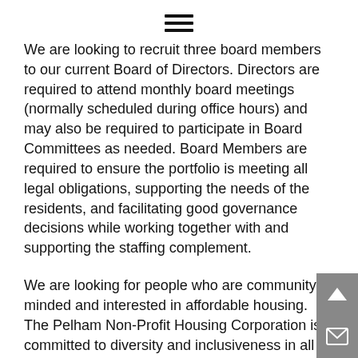[Figure (other): Hamburger menu icon with three horizontal lines]
We are looking to recruit three board members to our current Board of Directors. Directors are required to attend monthly board meetings (normally scheduled during office hours) and may also be required to participate in Board Committees as needed. Board Members are required to ensure the portfolio is meeting all legal obligations, supporting the needs of the residents, and facilitating good governance decisions while working together with and supporting the staffing complement.
We are looking for people who are community-minded and interested in affordable housing. The Pelham Non-Profit Housing Corporation is committed to diversity and inclusiveness in all its work. We encourage persons with previous Board experience and property/building knowledge, human resource skills, and financial management experience as beneficial